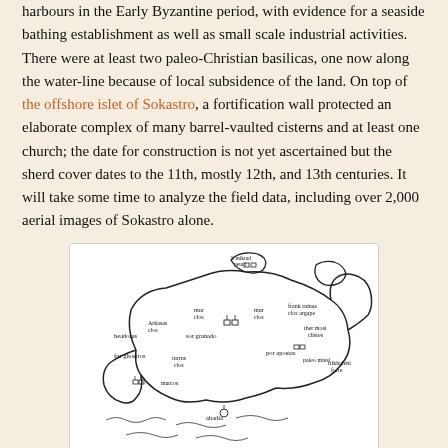harbours in the Early Byzantine period, with evidence for a seaside bathing establishment as well as small scale industrial activities. There were at least two paleo-Christian basilicas, one now along the water-line because of local subsidence of the land. On top of the offshore islet of Sokastro, a fortification wall protected an elaborate complex of many barrel-vaulted cisterns and at least one church; the date for construction is not yet ascertained but the sherd cover dates to the 11th, mostly 12th, and 13th centuries. It will take some time to analyze the field data, including over 2,000 aerial images of Sokastro alone.
[Figure (map): Hand-drawn sketch map of the Leukos/Sokastro area showing coastline features, labeled sites including headland, Arkasas, far ghoeiros, barrel-vaulted cisterns, church ruins, Charalsi, trikhaleni forte, por apostas, and abadia, with wavy lines indicating water.]
After a final study season, the future of Canadian research activity at Leukos is not certain, although not for any lack of potential. Years ago the Greek Service had the foresight to acquire a large tract of land along the shore to protect it from development and so